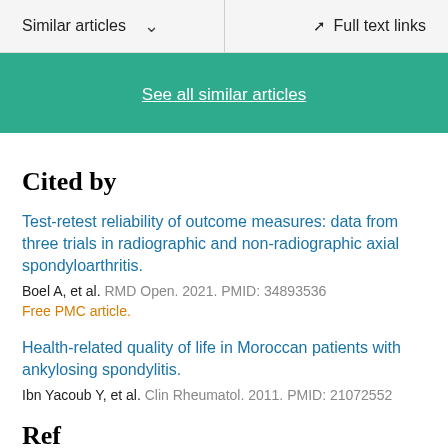Similar articles  ∨    Full text links
See all similar articles
Cited by
Test-retest reliability of outcome measures: data from three trials in radiographic and non-radiographic axial spondyloarthritis.
Boel A, et al. RMD Open. 2021. PMID: 34893536
Free PMC article.
Health-related quality of life in Moroccan patients with ankylosing spondylitis.
Ibn Yacoub Y, et al. Clin Rheumatol. 2011. PMID: 21072552
References